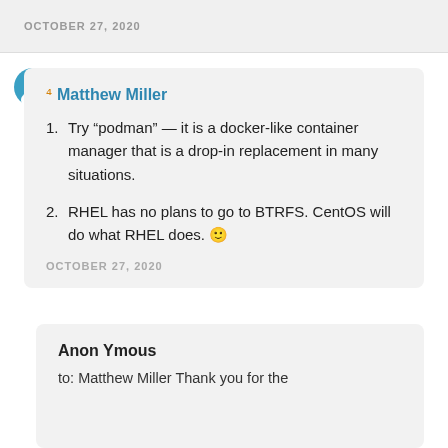OCTOBER 27, 2020
Matthew Miller
1. Try “podman” — it is a docker-like container manager that is a drop-in replacement in many situations.
2. RHEL has no plans to go to BTRFS. CentOS will do what RHEL does. 🙂
OCTOBER 27, 2020
Anon Ymous
to: Matthew Miller Thank you for the